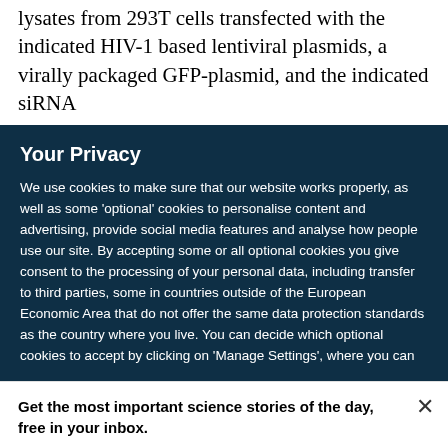lysates from 293T cells transfected with the indicated HIV-1 based lentiviral plasmids, a virally packaged GFP-plasmid, and the indicated siRNA
Your Privacy
We use cookies to make sure that our website works properly, as well as some 'optional' cookies to personalise content and advertising, provide social media features and analyse how people use our site. By accepting some or all optional cookies you give consent to the processing of your personal data, including transfer to third parties, some in countries outside of the European Economic Area that do not offer the same data protection standards as the country where you live. You can decide which optional cookies to accept by clicking on 'Manage Settings', where you can
Get the most important science stories of the day, free in your inbox.
Sign up for Nature Briefing